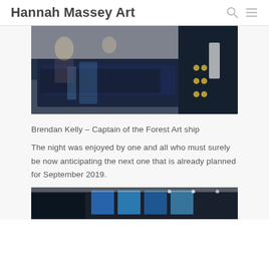Hannah Massey Art
[Figure (photo): Indoor gallery or exhibition scene showing dark navy/blue fabric or artwork on a table, with people in background and a person in a dark navy jacket with gold buttons visible on the right side.]
Brendan Kelly – Captain of the Forest Art ship
The night was enjoyed by one and all who must surely be now anticipating the next one that is already planned for September 2019.
[Figure (photo): Gallery interior showing blue artwork panels on white walls and ceiling spotlights.]